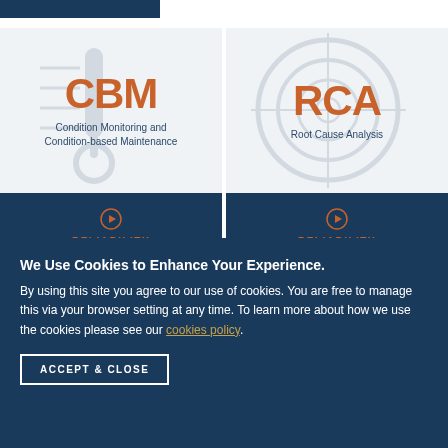[Figure (infographic): CBM card - Condition Monitoring and Condition-based Maintenance with Reliability Short Course label on dark blue background]
[Figure (infographic): RCA card - Root Cause Analysis with Reliability Short Course label on dark blue background]
We Use Cookies to Enhance Your Experience.
By using this site you agree to our use of cookies. You are free to manage this via your browser setting at any time. To learn more about how we use the cookies please see our cookies policy.
ACCEPT & CLOSE